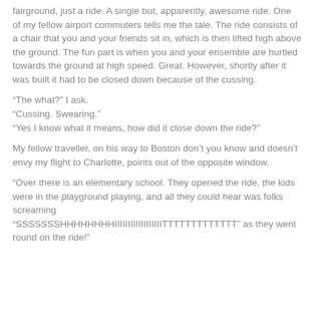fairground, just a ride. A single but, apparently, awesome ride. One of my fellow airport commuters tells me the tale. The ride consists of a chair that you and your friends sit in, which is then lifted high above the ground. The fun part is when you and your ensemble are hurtled towards the ground at high speed. Great. However, shortly after it was built it had to be closed down because of the cussing.
“The what?” I ask.
“Cussing. Swearing.”
“Yes I know what it means, how did it close down the ride?”
My fellow traveller, on his way to Boston don’t you know and doesn’t envy my flight to Charlotte, points out of the opposite window.
“Over there is an elementary school. They opened the ride, the kids were in the playground playing, and all they could hear was folks screaming “SSSSSSSHHHHHHHHIIIIIIIIIIIIIIIIIIITTTTTTTTTTTTTT” as they went round on the ride!”